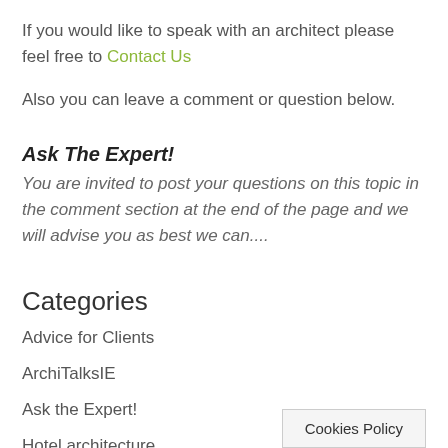If you would like to speak with an architect please feel free to Contact Us
Also you can leave a comment or question below.
Ask The Expert!
You are invited to post your questions on this topic in the comment section at the end of the page and we will advise you as best we can....
Categories
Advice for Clients
ArchiTalksIE
Ask the Expert!
Hotel architecture
News for architects
Cookies Policy